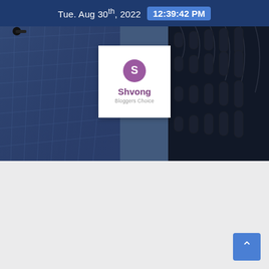Tue. Aug 30th, 2022  12:39:42 PM
[Figure (screenshot): Website screenshot showing Shvong Bloggers Choice header with city building background and logo card in center]
[Figure (logo): Shvong Bloggers Choice logo: purple circle with letter S, text Shvong in bold purple, Bloggers Choice in grey below]